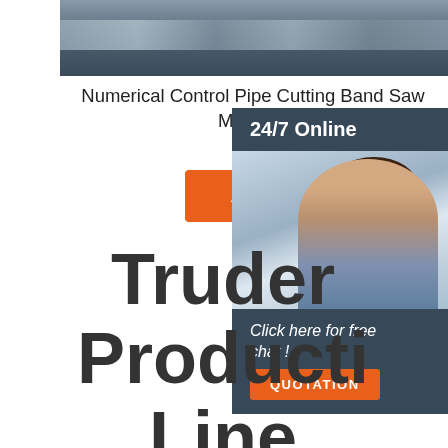[Figure (photo): Close-up photo of a numerical control pipe cutting band saw machine, showing metallic cutting surfaces]
Numerical Control Pipe Cutting Band Saw Machine
All Products
[Figure (photo): 24/7 Online chat widget with a smiling female customer service representative wearing a headset, with 'Click here for free chat!' text and QUOTATION button]
Truder Production Line Reasonable Design Tube Fabrication Production Line